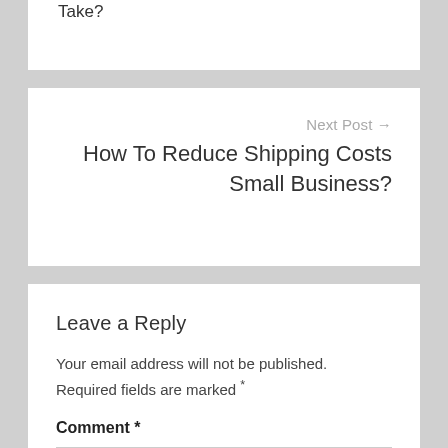Take?
Next Post →
How To Reduce Shipping Costs Small Business?
Leave a Reply
Your email address will not be published. Required fields are marked *
Comment *